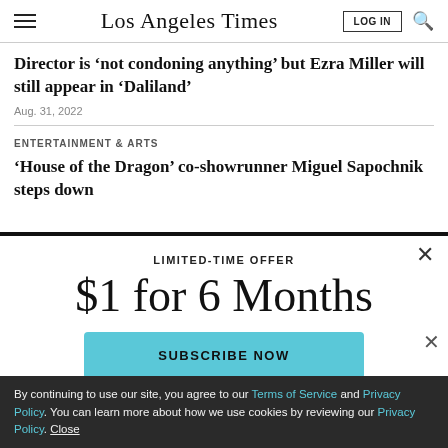Los Angeles Times
Director is ‘not condoning anything’ but Ezra Miller will still appear in ‘Daliland’
Aug. 31, 2022
ENTERTAINMENT & ARTS
‘House of the Dragon’ co-showrunner Miguel Sapochnik steps down
[Figure (screenshot): Subscription modal overlay with text: LIMITED-TIME OFFER, $1 for 6 Months, and a SUBSCRIBE NOW button in teal/light blue.]
By continuing to use our site, you agree to our Terms of Service and Privacy Policy. You can learn more about how we use cookies by reviewing our Privacy Policy. Close